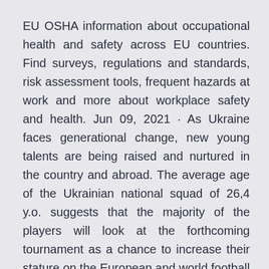EU OSHA information about occupational health and safety across EU countries. Find surveys, regulations and standards, risk assessment tools, frequent hazards at work and more about workplace safety and health. Jun 09, 2021 · As Ukraine faces generational change, new young talents are being raised and nurtured in the country and abroad. The average age of the Ukrainian national squad of 26,4 y.o. suggests that the majority of the players will look at the forthcoming tournament as a chance to increase their stature on the European and world football map. At the same · Austria and North Macedonia are the two later opponents of the Netherlands.